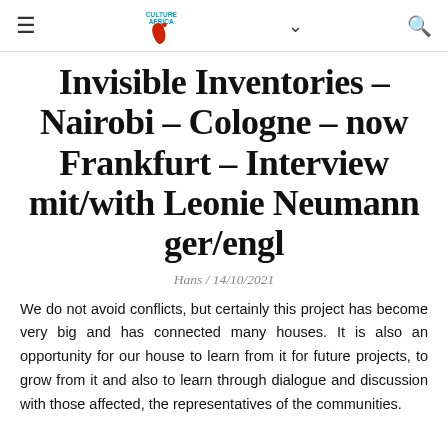CultureAfrica navigation bar
Invisible Inventories – Nairobi – Cologne – now Frankfurt – Interview mit/with Leonie Neumann ger/engl
Hans / 14/10/2021
We do not avoid conflicts, but certainly this project has become very big and has connected many houses. It is also an opportunity for our house to learn from it for future projects, to grow from it and also to learn through dialogue and discussion with those affected, the representatives of the communities.